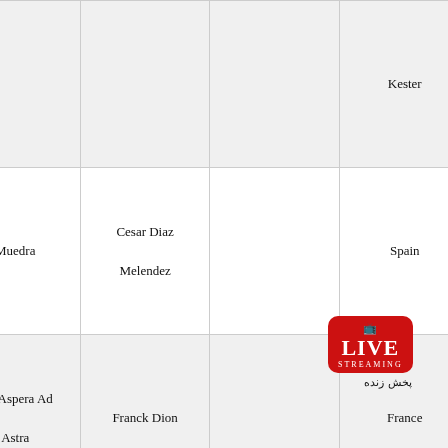| Song (original language) | Song (English translation) | Performer(s) | (original version) | Country | Conductor |
| --- | --- | --- | --- | --- | --- |
|  |  |  |  | Kester |  |
| Muedra | Muedra | Cesar Diaz Melendez |  | Spain | Pedro Colla... |
| Per Aspera Ad Astra | Per Aspera Ad Astra | Franck Dion |  | France | Richard Den B... |
| Sororelle | Sororal | Frédéric Even Louise Mercadier |  | F... | Fran... Bigot Car... |
[Figure (logo): LIVE STREAMING logo with TV icon and Farsi text پخش زنده]